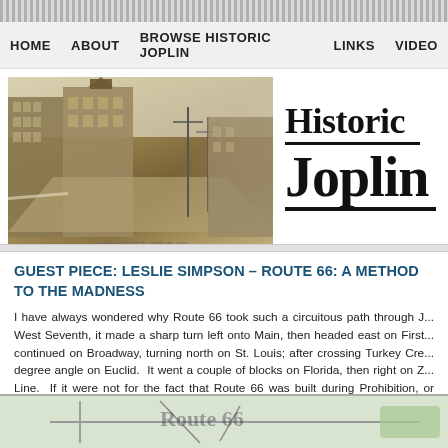HOME   ABOUT   BROWSE HISTORIC JOPLIN   LINKS   VIDEO
[Figure (photo): Historic black and white photo of a Joplin street scene with multi-story brick buildings, storefronts, and utility poles]
Historic Joplin
GUEST PIECE: LESLIE SIMPSON – ROUTE 66: A METHOD TO THE MADNESS
I have always wondered why Route 66 took such a circuitous path through J... West Seventh, it made a sharp turn left onto Main, then headed east on First... continued on Broadway, turning north on St. Louis; after crossing Turkey Cre... degree angle on Euclid.  It went a couple of blocks on Florida, then right on Z... Line.  If it were not for the fact that Route 66 was built during Prohibition, or cartographers had been a little tipsy!
[Figure (map): Partial view of a Route 66 map at the bottom of the page]